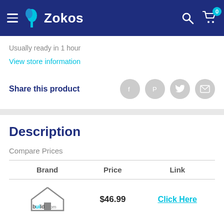Zokos
Usually ready in 1 hour
View store information
Share this product
Description
Compare Prices
| Brand | Price | Link |
| --- | --- | --- |
| build.com | $46.99 | Click Here |